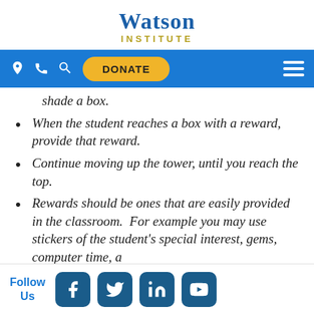Watson Institute
shade a box.
When the student reaches a box with a reward, provide that reward.
Continue moving up the tower, until you reach the top.
Rewards should be ones that are easily provided in the classroom.  For example you may use stickers of the student's special interest, gems, computer time, a
Follow Us  [Facebook] [Twitter] [LinkedIn] [YouTube]